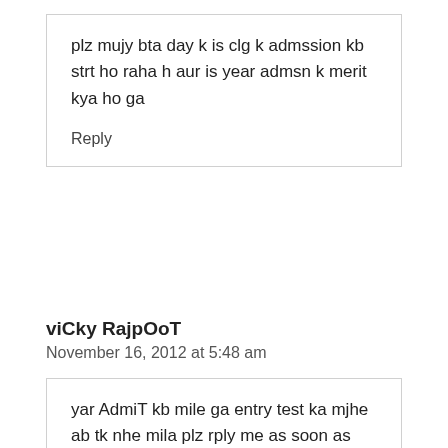plz mujy bta day k is clg k admssion kb strt ho raha h aur is year admsn k merit kya ho ga
Reply
viCky RajpOoT
November 16, 2012 at 5:48 am
yar AdmiT kb mile ga entry test ka mjhe ab tk nhe mila plz rply me as soon as